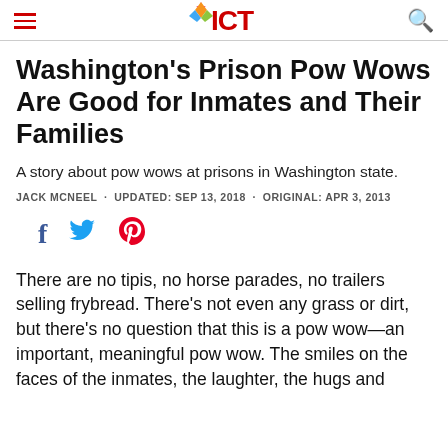ICT
Washington's Prison Pow Wows Are Good for Inmates and Their Families
A story about pow wows at prisons in Washington state.
JACK MCNEEL · UPDATED: SEP 13, 2018 · ORIGINAL: APR 3, 2013
[Figure (other): Social sharing icons: Facebook, Twitter, Pinterest]
There are no tipis, no horse parades, no trailers selling frybread. There's not even any grass or dirt, but there's no question that this is a pow wow—an important, meaningful pow wow. The smiles on the faces of the inmates, the laughter, the hugs and